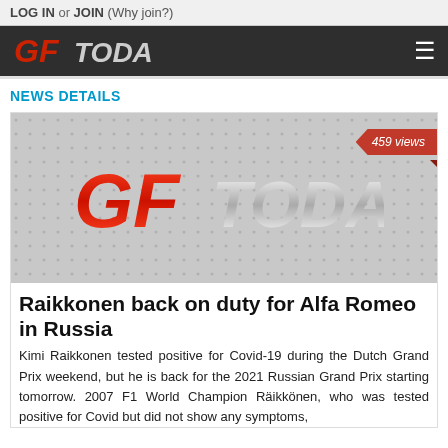LOG IN or JOIN (Why join?)
[Figure (logo): GFToday website logo in dark navigation bar with hamburger menu icon]
NEWS DETAILS
[Figure (illustration): GFToday logo on dotted grey background with '459 views' red badge in top right corner]
Raikkonen back on duty for Alfa Romeo in Russia
Kimi Raikkonen tested positive for Covid-19 during the Dutch Grand Prix weekend, but he is back for the 2021 Russian Grand Prix starting tomorrow. 2007 F1 World Champion Räikkönen, who was tested positive for Covid but did not show any symptoms,